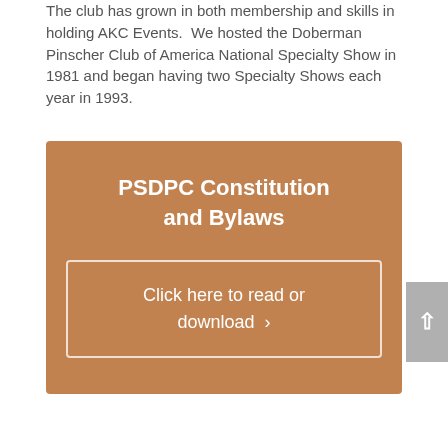The club has grown in both membership and skills in holding AKC Events. We hosted the Doberman Pinscher Club of America National Specialty Show in 1981 and began having two Specialty Shows each year in 1993.
[Figure (other): Brown/tan colored box with title 'PSDPC Constitution and Bylaws' and a bordered button reading 'Click here to read or download ›']